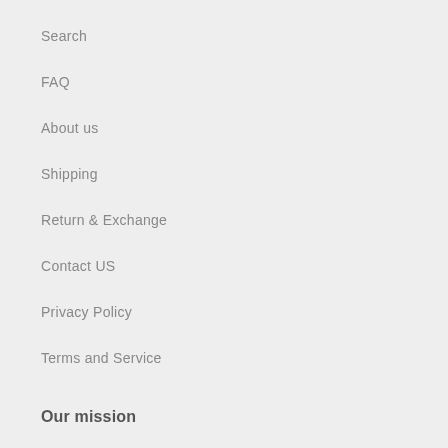Search
FAQ
About us
Shipping
Return & Exchange
Contact US
Privacy Policy
Terms and Service
Our mission